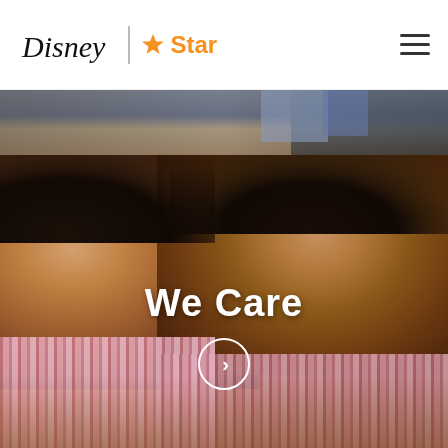Disney | Star — navigation header with hamburger menu
[Figure (photo): Top strip showing a partial background scene with books/shelves]
[Figure (photo): Hero photo of two young school children in pink striped uniforms, close-up of their faces looking down, warm tones]
We Care
[Figure (other): Circle button with right-pointing chevron arrow]